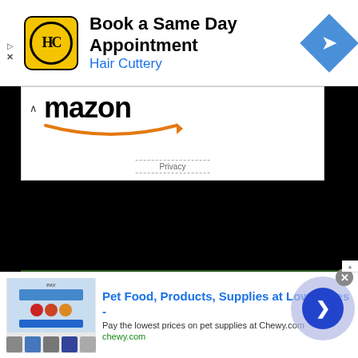[Figure (screenshot): Hair Cuttery advertisement banner with logo, 'Book a Same Day Appointment' text, and navigation icon]
[Figure (screenshot): Amazon widget with logo and Privacy label on white background, over black area]
[Figure (screenshot): Black content area with green banner reading 'STAIR NA HÉIREANN – HISTORY OF IRELAND' and infolinks badge]
[Figure (screenshot): Chewy.com advertisement at bottom: 'Pet Food, Products, Supplies at Low Prices -' with thumbnail, description, and next button]